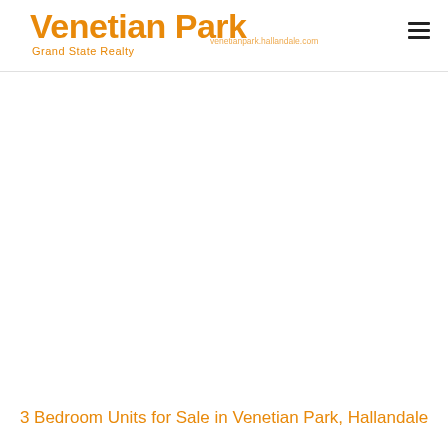Venetian Park Grand State Realty
[Figure (other): Large white/blank image area in the main content section of a real estate website page]
3 Bedroom Units for Sale in Venetian Park, Hallandale